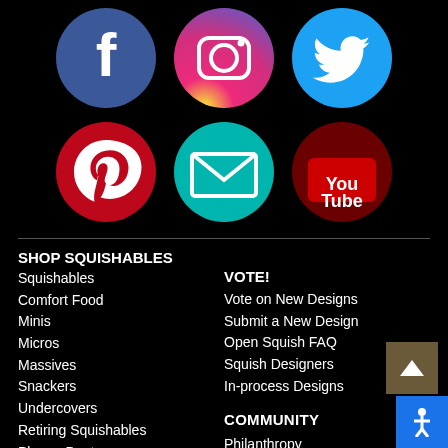[Figure (illustration): Row of social media icons: Facebook (blue circle), Instagram (orange/pink gradient circle), Twitter (blue circle)]
[Figure (illustration): Row of social media icons: Pinterest (red circle), Email/Mail (teal circle), YouTube (dark red circle)]
SHOP SQUISHABLES
Squishables
Comfort Food
Minis
Micros
Massives
Snackers
Undercovers
Retiring Squishables
Plague Doctor
Shop by Theme
VOTE!
Vote on New Designs
Submit a New Design
Open Squish FAQ
Squish Designers
In-process Designs
COMMUNITY
Philanthropy
Fan Art
Squee Central
Join Squee Club